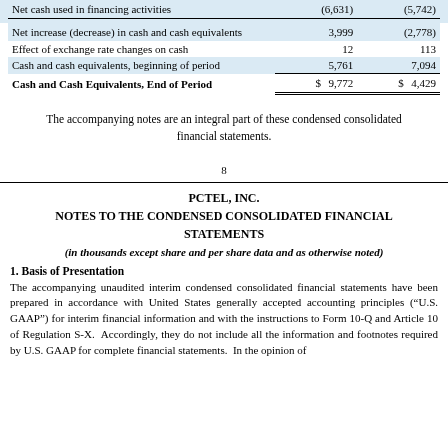|  |  |  |
| --- | --- | --- |
| Net cash used in financing activities | (6,631) | (5,742) |
| Net increase (decrease) in cash and cash equivalents | 3,999 | (2,778) |
| Effect of exchange rate changes on cash | 12 | 113 |
| Cash and cash equivalents, beginning of period | 5,761 | 7,094 |
| Cash and Cash Equivalents, End of Period | $ 9,772 | $ 4,429 |
The accompanying notes are an integral part of these condensed consolidated financial statements.
8
PCTEL, INC.
NOTES TO THE CONDENSED CONSOLIDATED FINANCIAL STATEMENTS
(in thousands except share and per share data and as otherwise noted)
1. Basis of Presentation
The accompanying unaudited interim condensed consolidated financial statements have been prepared in accordance with United States generally accepted accounting principles (“U.S. GAAP”) for interim financial information and with the instructions to Form 10-Q and Article 10 of Regulation S-X. Accordingly, they do not include all the information and footnotes required by U.S. GAAP for complete financial statements. In the opinion of